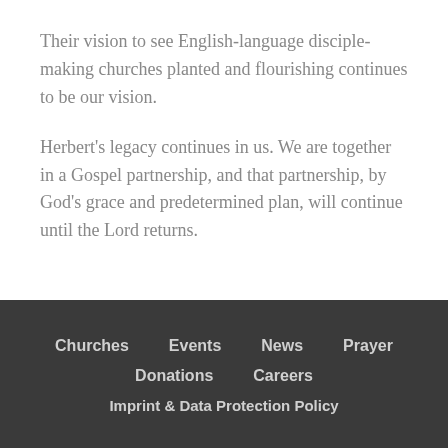Their vision to see English-language disciple-making churches planted and flourishing continues to be our vision.
Herbert's legacy continues in us. We are together in a Gospel partnership, and that partnership, by God's grace and predetermined plan, will continue until the Lord returns.
Churches   Events   News   Prayer   Donations   Careers   Imprint & Data Protection Policy